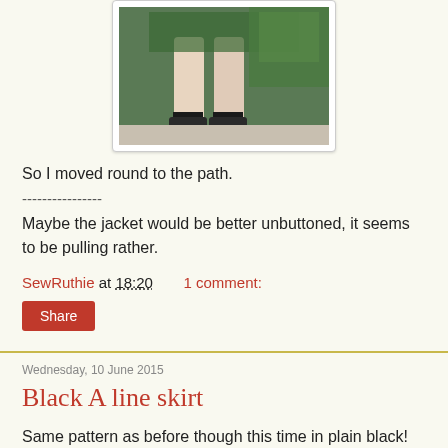[Figure (photo): Photo of person's legs wearing a green patterned skirt and black sandals on a path outdoors]
So I moved round to the path.
----------------
Maybe the jacket would be better unbuttoned, it seems to be pulling rather.
SewRuthie at 18:20    1 comment:
Share
Wednesday, 10 June 2015
Black A line skirt
Same pattern as before though this time in plain black!
[Figure (photo): Photo of a black A-line skirt laid flat or on a hanger]